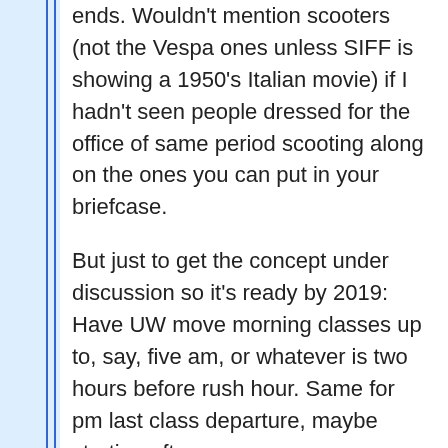ends. Wouldn't mention scooters (not the Vespa ones unless SIFF is showing a 1950's Italian movie) if I hadn't seen people dressed for the office of same period scooting along on the ones you can put in your briefcase.
But just to get the concept under discussion so it's ready by 2019: Have UW move morning classes up to, say, five am, or whatever is two hours before rush hour. Same for pm last class departure, maybe starting after seven.
And for those hours, close the ramps to everything except buses, emergency vehicles, and if so chosen...